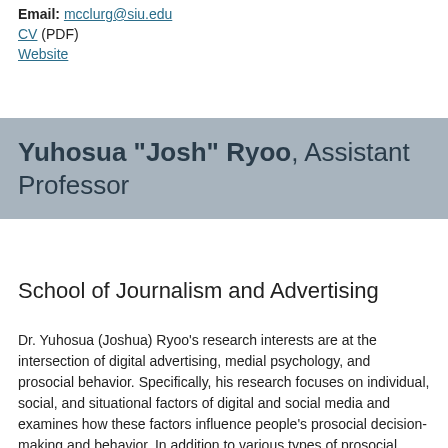Email: mcclurg@siu.edu
CV (PDF)
Website
Yuhosua "Josh" Ryoo, Assistant Professor
School of Journalism and Advertising
Dr. Yuhosua (Joshua) Ryoo's research interests are at the intersection of digital advertising, medial psychology, and prosocial behavior. Specifically, his research focuses on individual, social, and situational factors of digital and social media and examines how these factors influence people's prosocial decision-making and behavior. In addition to various types of prosocial behavior, such as ethical consumption, environmental sustainability,